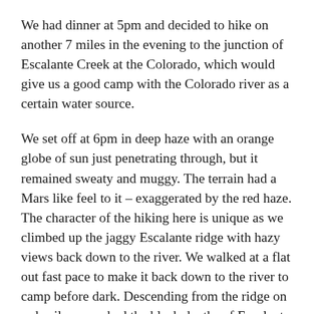We had dinner at 5pm and decided to hike on another 7 miles in the evening to the junction of Escalante Creek at the Colorado, which would give us a good camp with the Colorado river as a certain water source.
We set off at 6pm in deep haze with an orange globe of sun just penetrating through, but it remained sweaty and muggy. The terrain had a Mars like feel to it – exaggerated by the red haze. The character of the hiking here is unique as we climbed up the jaggy Escalante ridge with hazy views back down to the river. We walked at a flat out fast pace to make it back down to the river to camp before dark. Descending from the ridge on red soil we reached the black depths of Escalante creek which provided an enjoyable and surprisingly easy route down to the river. That was